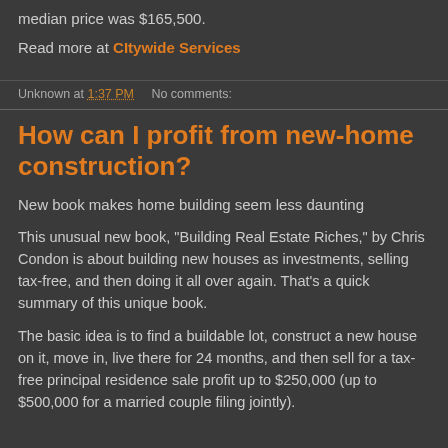median price was $165,500.
Read more at Citywide Services
Unknown at 1:37 PM    No comments:
How can I profit from new-home construction?
New book makes home building seem less daunting
This unusual new book, "Building Real Estate Riches," by Chris Condon is about building new houses as investments, selling tax-free, and then doing it all over again. That's a quick summary of this unique book.
The basic idea is to find a buildable lot, construct a new house on it, move in, live there for 24 months, and then sell for a tax-free principal residence sale profit up to $250,000 (up to $500,000 for a married couple filing jointly).